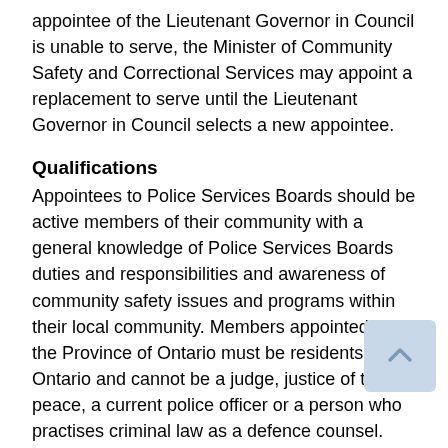appointee of the Lieutenant Governor in Council is unable to serve, the Minister of Community Safety and Correctional Services may appoint a replacement to serve until the Lieutenant Governor in Council selects a new appointee.
Qualifications
Appointees to Police Services Boards should be active members of their community with a general knowledge of Police Services Boards duties and responsibilities and awareness of community safety issues and programs within their local community. Members appointed by the Province of Ontario must be residents of Ontario and cannot be a judge, justice of the peace, a current police officer or a person who practises criminal law as a defence counsel.
Term
There is no limitation in legislation.